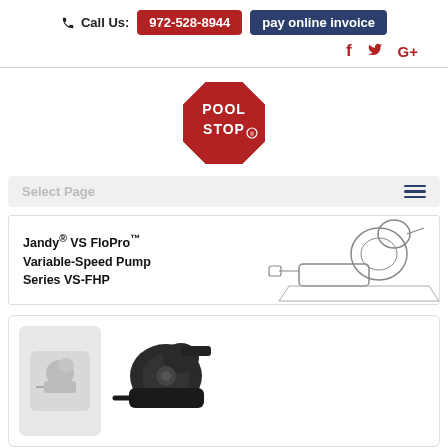Call Us: 972-528-8944  pay online invoice
[Figure (logo): Pool Stop logo - red octagon stop sign shape with POOL STOP text in white]
Select Page
[Figure (illustration): Jandy VS FloPro Variable-Speed Pump Series VS-FHP manual cover with pump diagram illustration]
[Figure (photo): Product card showing a pool pump with thumbnail and main product photo]